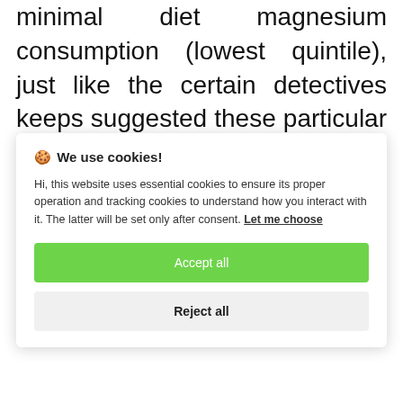minimal diet magnesium consumption (lowest quintile), just like the certain detectives keeps suggested these particular subjects especially can benefit from the magnesium within the water (Anderson and Hewitt 1975). We in
🍪 We use cookies!
Hi, this website uses essential cookies to ensure its proper operation and tracking cookies to understand how you interact with it. The latter will be set only after consent. Let me choose
Accept all
Reject all